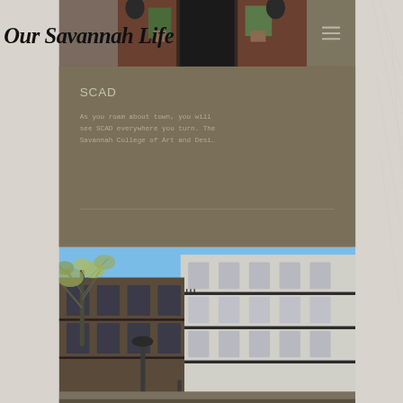Our Savannah Life
[Figure (photo): Exterior photo of a building entrance with brick facade, potted plants, and dark door, partially obscured by navigation menu overlay]
SCAD
As you roam about town, you will see SCAD everywhere you turn. The Savannah College of Art and Desi…
[Figure (photo): Street-level photo of historic Savannah buildings with ornate balconies and ironwork, a bare tree in foreground, blue sky background, and a street lamp]